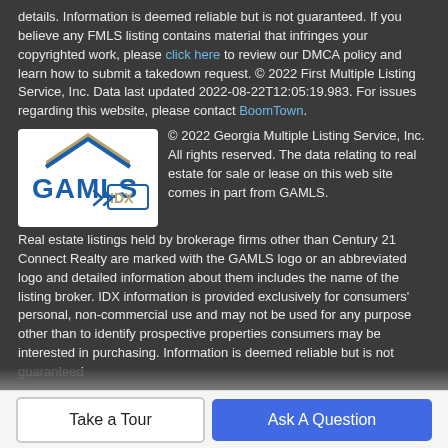details. Information is deemed reliable but is not guaranteed. If you believe any FMLS listing contains material that infringes your copyrighted work, please click here to review our DMCA policy and learn how to submit a takedown request. © 2022 First Multiple Listing Service, Inc. Data last updated 2022-08-22T12:05:19.983. For issues regarding this website, please contact BoomTown.
[Figure (logo): GAMLS IDX logo — blue house roof icon above 'GAMLS' text with an 'IDX' badge and arrow]
© 2022 Georgia Multiple Listing Service, Inc. All rights reserved. The data relating to real estate for sale or lease on this web site comes in part from GAMLS. Real estate listings held by brokerage firms other than Century 21 Connect Realty are marked with the GAMLS logo or an abbreviated logo and detailed information about them includes the name of the listing broker. IDX information is provided exclusively for consumers' personal, non-commercial use and may not be used for any purpose other than to identify prospective properties consumers may be interested in purchasing. Information is deemed reliable but is not guaranteed
Take a Tour
Ask A Question